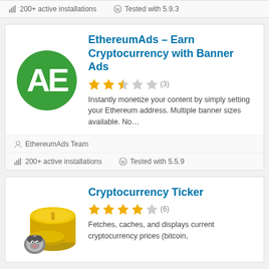200+ active installations   Tested with 5.9.3
EthereumAds – Earn Cryptocurrency with Banner Ads
(3) stars rating
Instantly monetize your content by simply setting your Ethereum address. Multiple banner sizes available. No…
EthereumAds Team
200+ active installations   Tested with 5.5.9
Cryptocurrency Ticker
(6) stars rating
Fetches, caches, and displays current cryptocurrency prices (bitcoin,